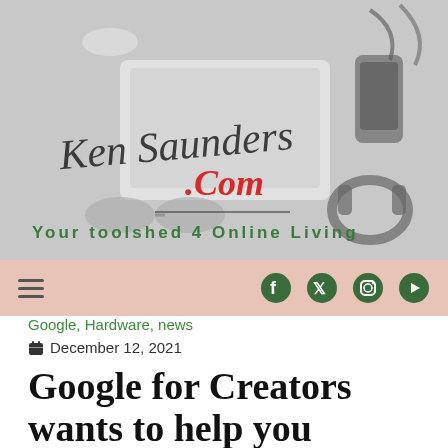[Figure (photo): Website header banner showing a flat-lay of tech gadgets (laptop, phone, headphones, sunglasses, cables) on a grey background with stylized cursive text 'Ken Saunders' and '.Com' in red, and tagline 'Your toolshed 4 Online Living' in green.]
Ken Saunders .Com | Your toolshed 4 Online Living
Google, Hardware, news
December 12, 2021
Google for Creators wants to help you